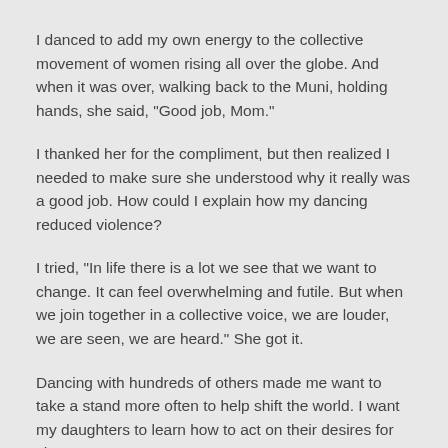I danced to add my own energy to the collective movement of women rising all over the globe.  And when it was over, walking back to the Muni, holding hands, she said, "Good job, Mom."
I thanked her for the compliment, but then realized I needed to make sure she understood why it really was a good job.  How could I explain how my dancing reduced violence?
I tried, "In life there is a lot we see that we want to change. It can feel overwhelming and futile.  But when we join together in a collective voice, we are louder, we are seen, we are heard."  She got it.
Dancing with hundreds of others made me want to take a stand more often to help shift the world.  I want my daughters to learn how to act on their desires for change too.
On March 8 there will be one more Flash Mob in San Francisco.  If